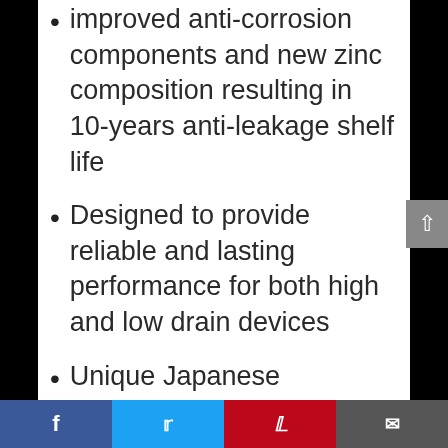improved anti-corrosion components and new zinc composition resulting in 10-years anti-leakage shelf life
Designed to provide reliable and lasting performance for both high and low drain devices
Unique Japanese technology that enables better performance after storage, over-discharge, and high temperatures
Works with a variety of devices including digital cameras, game controllers, toys, and clocks
do not attempt to recharge